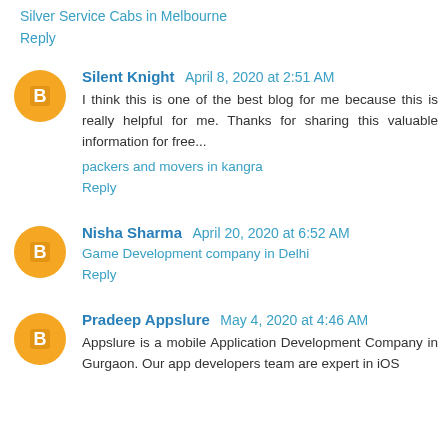Silver Service Cabs in Melbourne
Reply
Silent Knight  April 8, 2020 at 2:51 AM
I think this is one of the best blog for me because this is really helpful for me. Thanks for sharing this valuable information for free...
packers and movers in kangra
Reply
Nisha Sharma  April 20, 2020 at 6:52 AM
Game Development company in Delhi
Reply
Pradeep Appslure  May 4, 2020 at 4:46 AM
Appslure is a mobile Application Development Company in Gurgaon. Our app developers team are expert in iOS